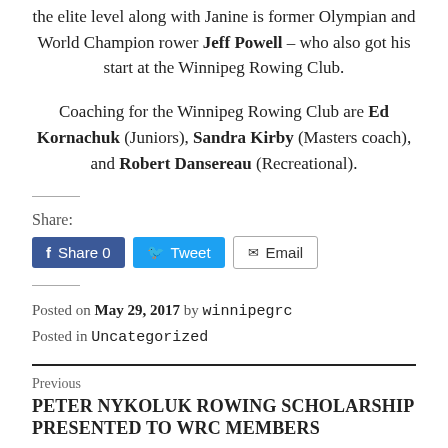the elite level along with Janine is former Olympian and World Champion rower Jeff Powell – who also got his start at the Winnipeg Rowing Club.
Coaching for the Winnipeg Rowing Club are Ed Kornachuk (Juniors), Sandra Kirby (Masters coach), and Robert Dansereau (Recreational).
Share: [Facebook Share 0] [Tweet] [Email]
Posted on May 29, 2017 by winnipegrc
Posted in Uncategorized
Previous
PETER NYKOLUK ROWING SCHOLARSHIP PRESENTED TO WRC MEMBERS